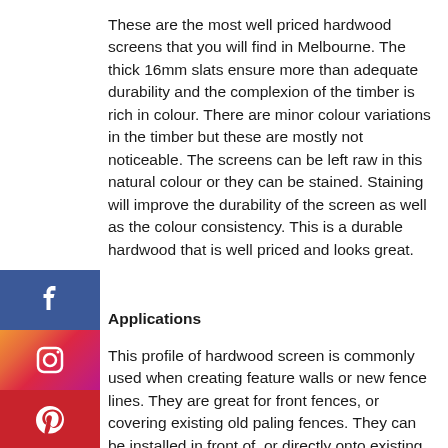These are the most well priced hardwood screens that you will find in Melbourne. The thick 16mm slats ensure more than adequate durability and the complexion of the timber is rich in colour. There are minor colour variations in the timber but these are mostly not noticeable. The screens can be left raw in this natural colour or they can be stained. Staining will improve the durability of the screen as well as the colour consistency. This is a durable hardwood that is well priced and looks great.
[Figure (infographic): Social media sidebar icons: Facebook (blue), Instagram (gradient), Pinterest (red)]
Applications
This profile of hardwood screen is commonly used when creating feature walls or new fence lines. They are great for front fences, or covering existing old paling fences. They can be installed in front of, or directly onto existing fences and raised up to extend the height of the fence.